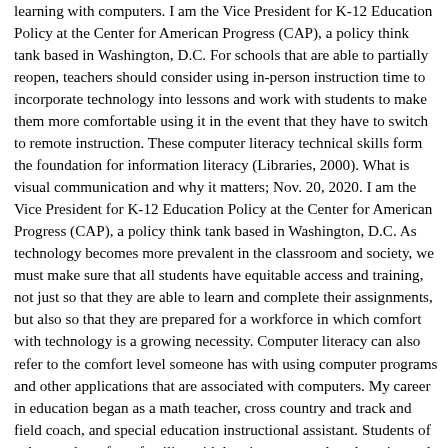learning with computers. I am the Vice President for K-12 Education Policy at the Center for American Progress (CAP), a policy think tank based in Washington, D.C. For schools that are able to partially reopen, teachers should consider using in-person instruction time to incorporate technology into lessons and work with students to make them more comfortable using it in the event that they have to switch to remote instruction. These computer literacy technical skills form the foundation for information literacy (Libraries, 2000). What is visual communication and why it matters; Nov. 20, 2020. I am the Vice President for K-12 Education Policy at the Center for American Progress (CAP), a policy think tank based in Washington, D.C. As technology becomes more prevalent in the classroom and society, we must make sure that all students have equitable access and training, not just so that they are able to learn and complete their assignments, but also so that they are prepared for a workforce in which comfort with technology is a growing necessity. Computer literacy can also refer to the comfort level someone has with using computer programs and other applications that are associated with computers. My career in education began as a math teacher, cross country and track and field coach, and special education instructional assistant. Students of color, students from families with low incomes, and students in rural locations are far likelier than their peers to lack these essential resources. Opinions expressed by Forbes Contributors are their own. stream seminars andanel-based on the effectiveness of computer literacy and the